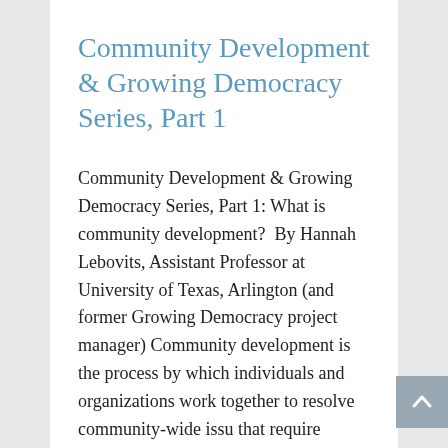Community Development & Growing Democracy Series, Part 1
Community Development & Growing Democracy Series, Part 1: What is community development?  By Hannah Lebovits, Assistant Professor at University of Texas, Arlington (and former Growing Democracy project manager) Community development is the process by which individuals and organizations work together to resolve community-wide issues that require collective efforts, despite